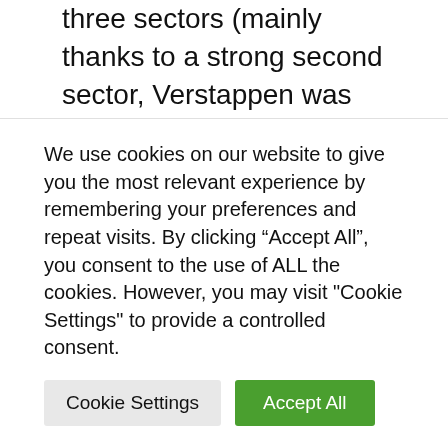three sectors (mainly thanks to a strong second sector, Verstappen was faster in S1), but then spun in the harassment before the start and finish and was under great pressure before the last race.
Because Leclerc did not have a lap time at the time and was currently in tenth place, he took no risks in the all-important race in Q3 and first ran out on the track to get a free
We use cookies on our website to give you the most relevant experience by remembering your preferences and repeat visits. By clicking “Accept All”, you consent to the use of ALL the cookies. However, you may visit "Cookie Settings" to provide a controlled consent.